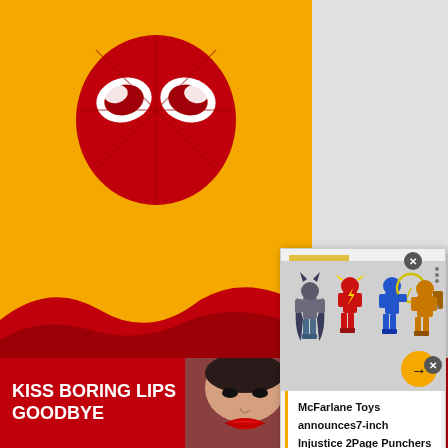[Figure (illustration): Orange background comic-style illustration of a Spider-Man mask/face in red and white, with red wave/landscape at bottom]
[Figure (photo): Floating card showing four McFarlane Toys action figures: a grey Batman, red Flash, blue hero with yellow lasso, and yellow/orange villain with backpack, on gray background]
McFarlane Toys announces7-inch Injustice 2Page Punchers
[Figure (photo): Macy's advertisement banner showing a woman's face with red lips]
KISS BORING LIPS GOODBYE
SHOP NOW
★macy's